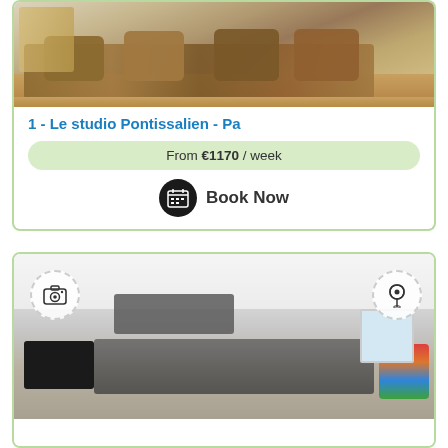[Figure (photo): Interior photo of a studio apartment showing a sofa with brown/beige cushions and wood flooring]
1 - Le studio Pontissalien - Pa
From €1170 / week
Book Now
[Figure (photo): Interior photo of an apartment showing a kitchen area with dark cabinetry, a television, and colorful chairs. Overlay icons for camera and map pin are visible.]